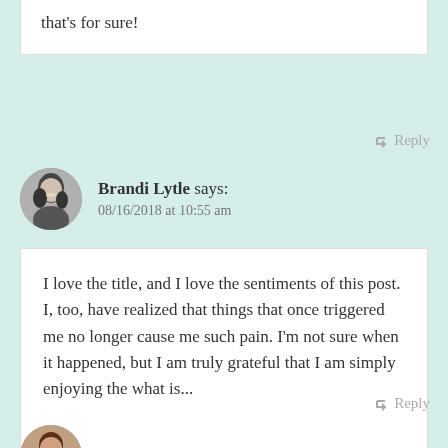that's for sure!
↳ Reply
Brandi Lytle says:
08/16/2018 at 10:55 am
I love the title, and I love the sentiments of this post. I, too, have realized that things that once triggered me no longer cause me such pain. I'm not sure when it happened, but I am truly grateful that I am simply enjoying the what is...
↳ Reply